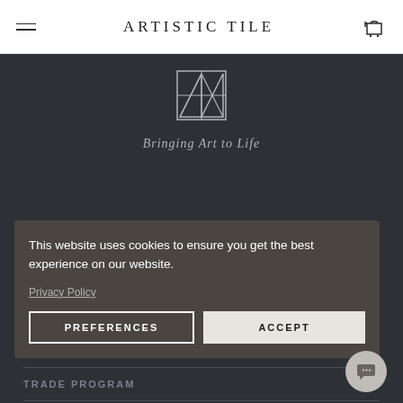ARTISTIC TILE
[Figure (logo): Artistic Tile square logo with geometric triangle design]
Bringing Art to Life
This website uses cookies to ensure you get the best experience on our website.
Privacy Policy
PREFERENCES   ACCEPT